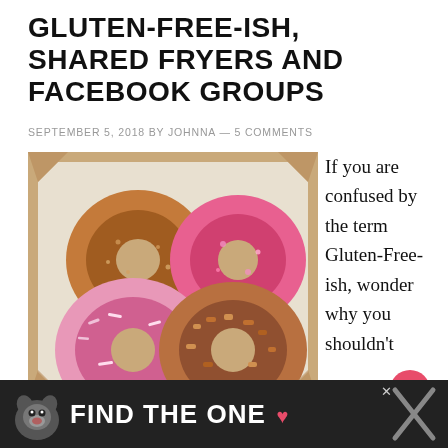GLUTEN-FREE-ISH, SHARED FRYERS AND FACEBOOK GROUPS
SEPTEMBER 5, 2018 BY JOHNNA — 5 COMMENTS
[Figure (photo): Four donuts in a cardboard box with white paper: a sugared donut, a pink/berry glazed donut, a pink shredded coconut donut, and a crumble-topped donut]
If you are confused by the term Gluten-Free-ish, wonder why you shouldn't eat a food cooked in a shared fryer with glute
[Figure (other): Advertisement banner: dark background with a dog image and text FIND THE ONE with a heart icon]